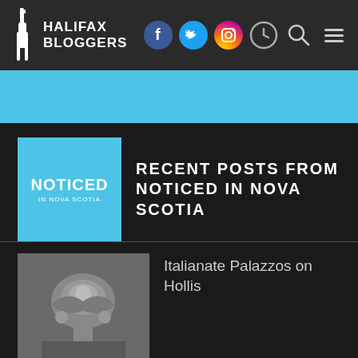HALIFAX BLOGGERS
[Figure (screenshot): Halifax Bloggers website screenshot showing navigation bar with logo, social media icons (Facebook, Twitter, Instagram), and menu icons; blue banner area; and a dark content section with recent posts from Noticed in Nova Scotia blog, including thumbnails and titles: Italianate Palazzos on Hollis, Howe Now, Noticed: Good News & Triggers]
RECENT POSTS FROM NOTICED IN NOVA SCOTIA
Italianate Palazzos on Hollis
Howe Now
Noticed: Good News & Triggers